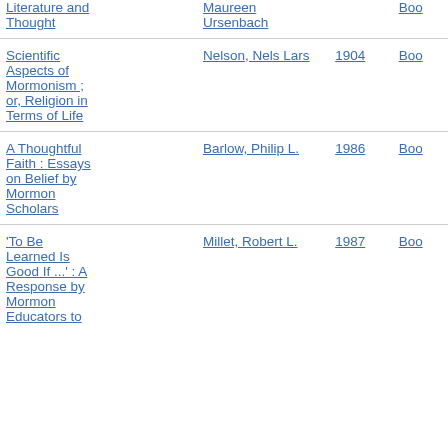| Title | Author | Year | Type |
| --- | --- | --- | --- |
| Literature and Thought | Maureen Ursenbach |  | Boo... |
| Scientific Aspects of Mormonism ; or, Religion in Terms of Life | Nelson, Nels Lars | 1904 | Boo... |
| A Thoughtful Faith : Essays on Belief by Mormon Scholars | Barlow, Philip L. | 1986 | Boo... |
| 'To Be Learned Is Good If ...' : A Response by Mormon Educators to | Millet, Robert L. | 1987 | Boo... |